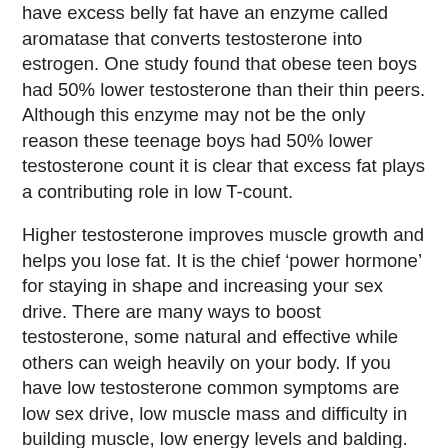have excess belly fat have an enzyme called aromatase that converts testosterone into estrogen. One study found that obese teen boys had 50% lower testosterone than their thin peers. Although this enzyme may not be the only reason these teenage boys had 50% lower testosterone count it is clear that excess fat plays a contributing role in low T-count.
Higher testosterone improves muscle growth and helps you lose fat. It is the chief ‘power hormone’ for staying in shape and increasing your sex drive. There are many ways to boost testosterone, some natural and effective while others can weigh heavily on your body. If you have low testosterone common symptoms are low sex drive, low muscle mass and difficulty in building muscle, low energy levels and balding.
Let’s dig into how you can increase your testosterone safely, effectively and naturally: